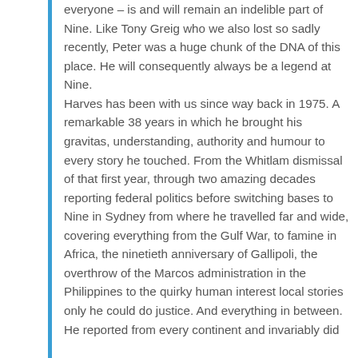everyone – is and will remain an indelible part of Nine. Like Tony Greig who we also lost so sadly recently, Peter was a huge chunk of the DNA of this place. He will consequently always be a legend at Nine. Harves has been with us since way back in 1975. A remarkable 38 years in which he brought his gravitas, understanding, authority and humour to every story he touched. From the Whitlam dismissal of that first year, through two amazing decades reporting federal politics before switching bases to Nine in Sydney from where he travelled far and wide, covering everything from the Gulf War, to famine in Africa, the ninetieth anniversary of Gallipoli, the overthrow of the Marcos administration in the Philippines to the quirky human interest local stories only he could do justice. And everything in between. He reported from every continent and invariably did